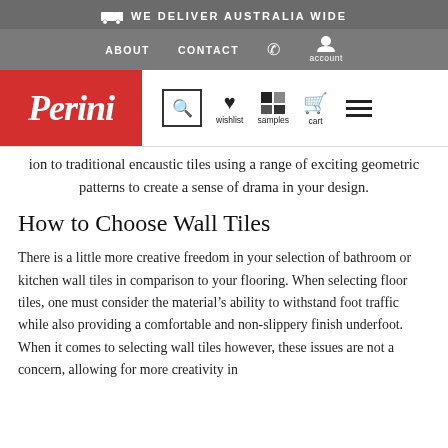WE DELIVER AUSTRALIA WIDE
ABOUT   CONTACT   account
[Figure (logo): Perini logo — white italic text on red background]
ion to traditional encaustic tiles using a range of exciting geometric patterns to create a sense of drama in your design.
How to Choose Wall Tiles
There is a little more creative freedom in your selection of bathroom or kitchen wall tiles in comparison to your flooring. When selecting floor tiles, one must consider the material's ability to withstand foot traffic while also providing a comfortable and non-slippery finish underfoot. When it comes to selecting wall tiles however, these issues are not a concern, allowing for more creativity in the design of wall tiles.